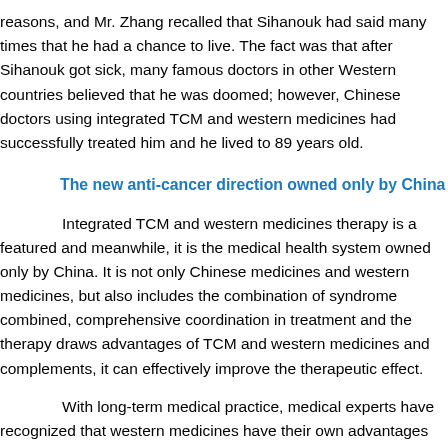reasons, and Mr. Zhang recalled that Sihanouk had said many times that he had a chance to live. The fact was that after Sihanouk got sick, many famous doctors in other Western countries believed that he was doomed; however, Chinese doctors using integrated TCM and western medicines had successfully treated him and he lived to 89 years old.
The new anti-cancer direction owned only by China
Integrated TCM and western medicines therapy is a featured and meanwhile, it is the medical health system owned only by China. It is not only Chinese medicines and western medicines, but also includes the combination of syndrome combined, comprehensive coordination in treatment and the therapy draws advantages of TCM and western medicines and complements, it can effectively improve the therapeutic effect.
With long-term medical practice, medical experts have recognized that western medicines have their own advantages and disadvantages in that medicines often have strong power in killing cancer cells, but are often are relatively weaker in the long-term efficacy. Chinese medicines are but are guided by TCM theory of overall concept combined with overall multiple systems, which can effectively improve immune system in